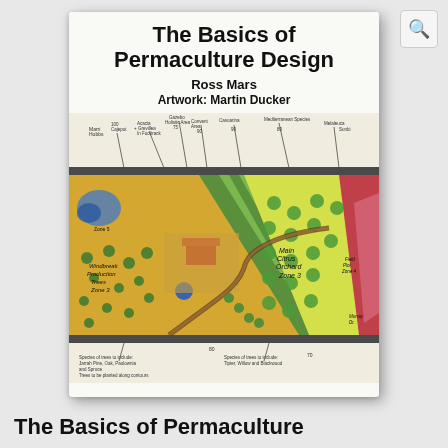[Figure (photo): Book cover of 'The Basics of Permaculture Design' by Ross Mars, Artwork by Martin Ducker. The cover shows a hand-drawn/painted permaculture design map with color zones including yellow, green, blue, red/pink areas depicting different garden zones such as citrus orchard, windbreak trees, and Mediterranean species. Labels on the map include 'Main Citrus Orchard Zone 3', 'Windbreak Trees Zone 3', and various species notes. The book is shown as a physical book with a white/cream cover with bold black title text.]
The Basics of Permaculture